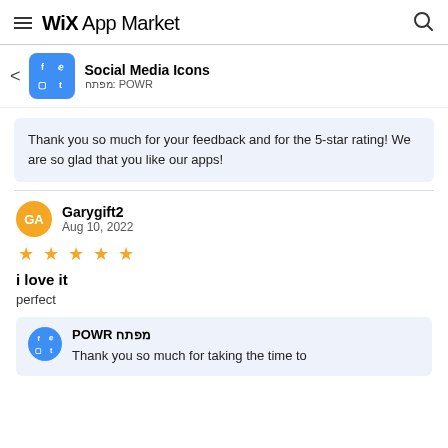WiX App Market
Social Media Icons
 מפתח: POWR
Thank you so much for your feedback and for the 5-star rating! We are so glad that you like our apps!
Garygift2
Aug 10, 2022
★★★★★
i love it
perfect
POWR מפתח
Thank you so much for taking the time to